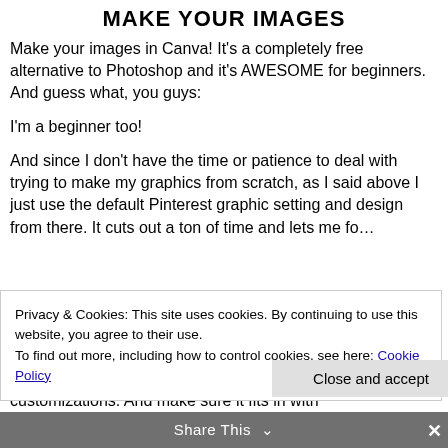MAKE YOUR IMAGES
Make your images in Canva! It’s a completely free alternative to Photoshop and it’s AWESOME for beginners. And guess what, you guys:
I’m a beginner too!
And since I don’t have the time or patience to deal with trying to make my graphics from scratch, as I said above I just use the default Pinterest graphic setting and design from there. It cuts out a ton of time and lets me fo…
Privacy & Cookies: This site uses cookies. By continuing to use this website, you agree to their use. To find out more, including how to control cookies, see here: Cookie Policy
Close and accept
Share This
customizations. And make sure it fits in with